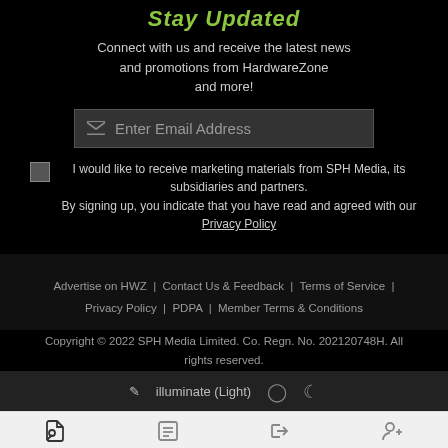Stay Updated
Connect with us and receive the latest news and promotions from HardwareZone and more!
Enter Email Address
I would like to receive marketing materials from SPH Media, its subsidiaries and partners. By signing up, you indicate that you have read and agreed with our Privacy Policy
Advertise on HWZ | Contact Us & Feedback | Terms of Service | Privacy Policy | PDPA | Member Terms & Conditions
Copyright © 2022 SPH Media Limited. Co. Regn. No. 202120748H. All rights reserved.
illuminate (Light)
Forums  What's New  Log In  Register